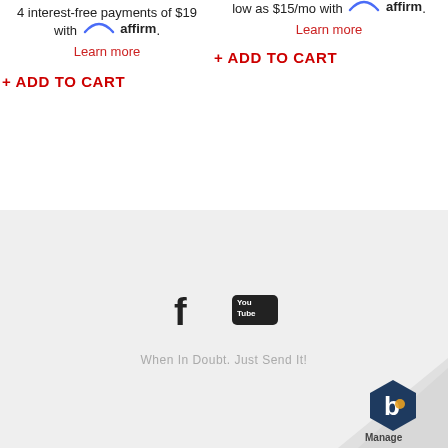4 interest-free payments of $19 with affirm.
Learn more
+ ADD TO CART
low as $15/mo with affirm.
Learn more
+ ADD TO CART
[Figure (logo): Facebook and YouTube social media icons]
When In Doubt. Just Send It!
[Figure (logo): Manage app logo badge in bottom right corner]